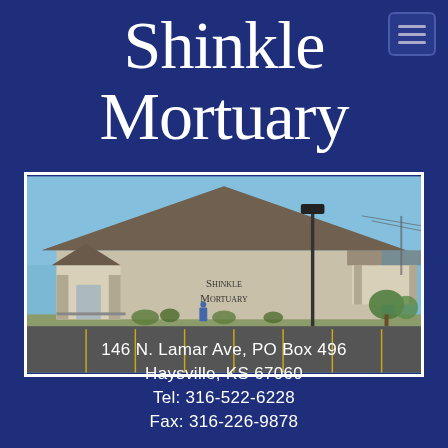Shinkle Mortuary
[Figure (photo): Exterior photo of the Shinkle Mortuary building — a single-story tan/beige building with a large hipped roof, stone accents, a covered entrance on the left, a covered porte-cochere on the right, a parking lot in front, and 'Shinkle Mortuary' lettering on the facade. A tall street lamp is visible in the background.]
146 N. Lamar Ave, PO Box 496
Haysville, KS 67060
Tel: 316-522-6228
Fax: 316-226-9878